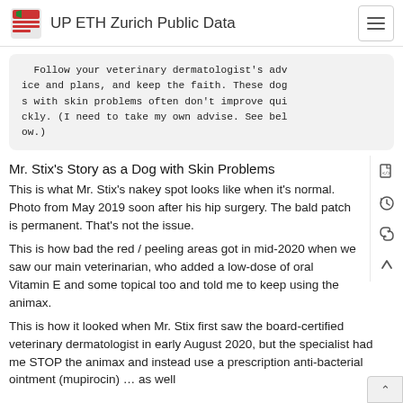UP ETH Zurich Public Data
Follow your veterinary dermatologist's advice and plans, and keep the faith. These dogs with skin problems often don't improve quickly. (I need to take my own advise. See below.)
Mr. Stix's Story as a Dog with Skin Problems
This is what Mr. Stix's nakey spot looks like when it's normal. Photo from May 2019 soon after his hip surgery. The bald patch is permanent. That's not the issue.
This is how bad the red / peeling areas got in mid-2020 when we saw our main veterinarian, who added a low-dose of oral Vitamin E and some topical too and told me to keep using the animax.
This is how it looked when Mr. Stix first saw the board-certified veterinary dermatologist in early August 2020, but the specialist had me STOP the animax and instead use a prescription anti-bacterial ointment (mupirocin) … as well